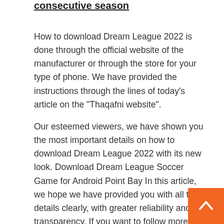consecutive season
How to download Dream League 2022 is done through the official website of the manufacturer or through the store for your type of phone. We have provided the instructions through the lines of today’s article on the “Thaqafni website”.
Our esteemed viewers, we have shown you the most important details on how to download Dream League 2022 with its new look. Download Dream League Soccer Game for Android Point Bay In this article, we hope we have provided you with all the details clearly, with greater reliability and transparency. If you want to follow more of our messages, you can subscribe t through our alert system in your browser or for fre look forward to joining the mailing list and providing